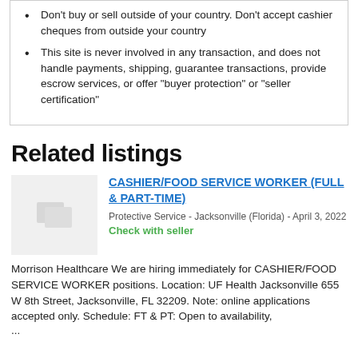Don't buy or sell outside of your country. Don't accept cashier cheques from outside your country
This site is never involved in any transaction, and does not handle payments, shipping, guarantee transactions, provide escrow services, or offer "buyer protection" or "seller certification"
Related listings
[Figure (photo): Placeholder image thumbnail with overlapping card/image icon in gray]
CASHIER/FOOD SERVICE WORKER (FULL & PART-TIME)
Protective Service - Jacksonville (Florida) - April 3, 2022
Check with seller
Morrison Healthcare We are hiring immediately for CASHIER/FOOD SERVICE WORKER positions. Location: UF Health Jacksonville 655 W 8th Street, Jacksonville, FL 32209. Note: online applications accepted only. Schedule: FT & PT: Open to availability,
...